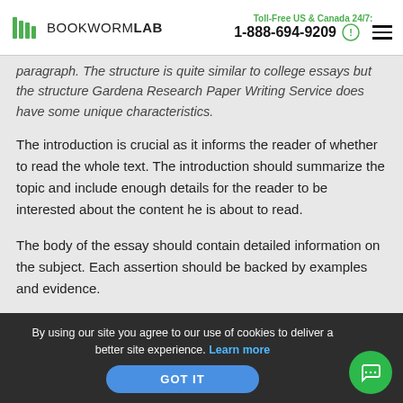BOOKWORMLAB | Toll-Free US & Canada 24/7: 1-888-694-9209
paragraph. The structure is quite similar to college essays but the structure Gardena Research Paper Writing Service does have some unique characteristics.
The introduction is crucial as it informs the reader of whether to read the whole text. The introduction should summarize the topic and include enough details for the reader to be interested about the content he is about to read.
The body of the essay should contain detailed information on the subject. Each assertion should be backed by examples and evidence.
The essay's body should be summarized in the conclusion. A
By using our site you agree to our use of cookies to deliver a better site experience. Learn more GOT IT